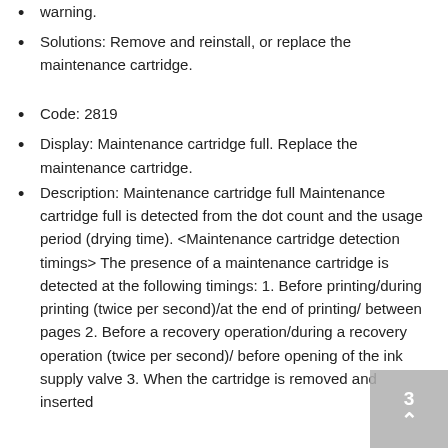Solutions: Remove and reinstall, or replace the maintenance cartridge.
Code: 2819
Display: Maintenance cartridge full. Replace the maintenance cartridge.
Description: Maintenance cartridge full Maintenance cartridge full is detected from the dot count and the usage period (drying time). <Maintenance cartridge detection timings> The presence of a maintenance cartridge is detected at the following timings: 1. Before printing/during printing (twice per second)/at the end of printing/between pages 2. Before a recovery operation/during a recovery operation (twice per second)/ before opening of the ink supply valve 3. When the cartridge is removed and inserted